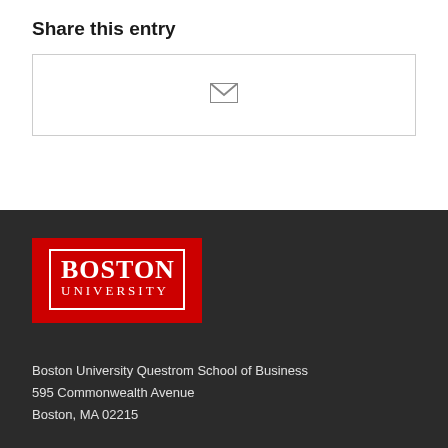Share this entry
[Figure (other): Share box with email envelope icon]
[Figure (logo): Boston University logo — red rectangle with white serif text reading BOSTON UNIVERSITY]
Boston University Questrom School of Business
595 Commonwealth Avenue
Boston, MA 02215